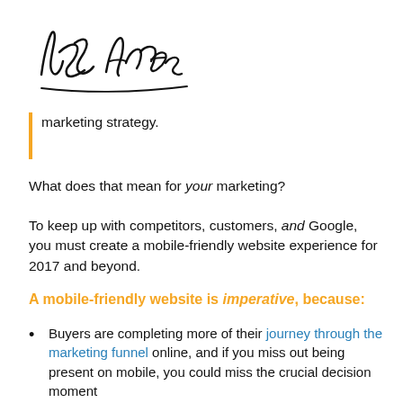[Figure (other): Handwritten signature reading 'Josh Ames' in cursive/script style]
marketing strategy.
What does that mean for your marketing?
To keep up with competitors, customers, and Google, you must create a mobile-friendly website experience for 2017 and beyond.
A mobile-friendly website is imperative, because:
Buyers are completing more of their journey through the marketing funnel online, and if you miss out being present on mobile, you could miss the crucial decision moment
Google is increasingly penalizing websites who don't comply with mobile-friendly websites — that means